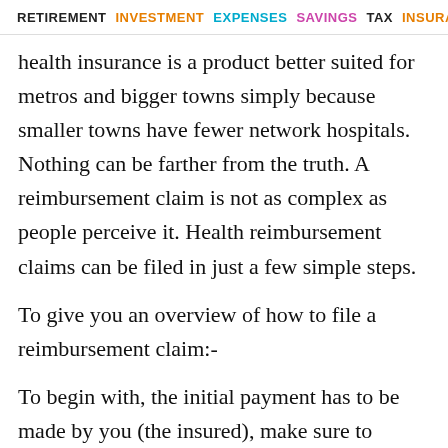RETIREMENT  INVESTMENT  EXPENSES  SAVINGS  TAX  INSURANCE
health insurance is a product better suited for metros and bigger towns simply because smaller towns have fewer network hospitals. Nothing can be farther from the truth. A reimbursement claim is not as complex as people perceive it. Health reimbursement claims can be filed in just a few simple steps.
To give you an overview of how to file a reimbursement claim:-
To begin with, the initial payment has to be made by you (the insured), make sure to collect all the